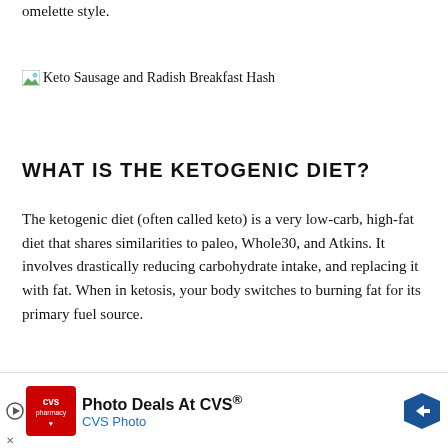omelette style.
[Figure (photo): Broken image placeholder for Keto Sausage and Radish Breakfast Hash]
WHAT IS THE KETOGENIC DIET?
The ketogenic diet (often called keto) is a very low-carb, high-fat diet that shares similarities to paleo, Whole30, and Atkins. It involves drastically reducing carbohydrate intake, and replacing it with fat. When in ketosis, your body switches to burning fat for its primary fuel source.
On Keto, you're supposed to get at least 70 percent of you...
[Figure (other): CVS Photo advertisement banner - Photo Deals At CVS®]